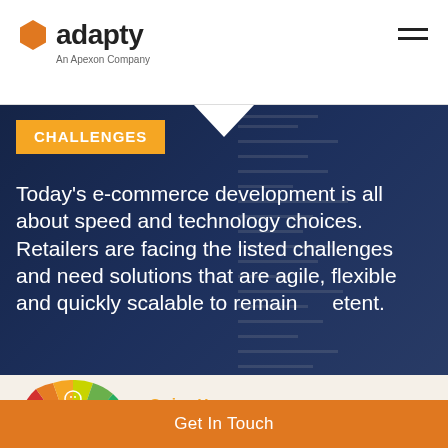adapty — An Apexon Company
CHALLENGES
Today's e-commerce development is all about speed and technology choices. Retailers are facing the listed challenges and need solutions that are agile, flexible and quickly scalable to remain competitive.
[Figure (infographic): Semicircular gauge/meter with color segments from red (left) to green (right), with smiley face icons and a needle pointing to lower-left. Used to symbolize CX strategy level.]
Swipe Up ∧
Leverage your CX strategy now!
Get In Touch